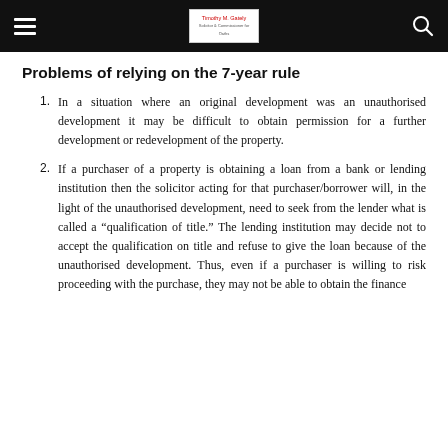Timothy M. Gately — logo and navigation header
Problems of relying on the 7-year rule
In a situation where an original development was an unauthorised development it may be difficult to obtain permission for a further development or redevelopment of the property.
If a purchaser of a property is obtaining a loan from a bank or lending institution then the solicitor acting for that purchaser/borrower will, in the light of the unauthorised development, need to seek from the lender what is called a “qualification of title.” The lending institution may decide not to accept the qualification on title and refuse to give the loan because of the unauthorised development. Thus, even if a purchaser is willing to risk proceeding with the purchase, they may not be able to obtain the finance